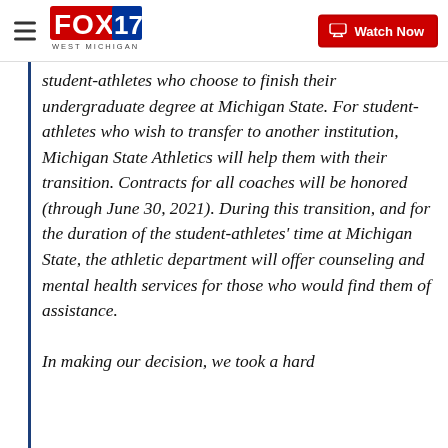FOX 17 WEST MICHIGAN | Watch Now
student-athletes who choose to finish their undergraduate degree at Michigan State. For student-athletes who wish to transfer to another institution, Michigan State Athletics will help them with their transition. Contracts for all coaches will be honored (through June 30, 2021). During this transition, and for the duration of the student-athletes' time at Michigan State, the athletic department will offer counseling and mental health services for those who would find them of assistance.

In making our decision, we took a hard